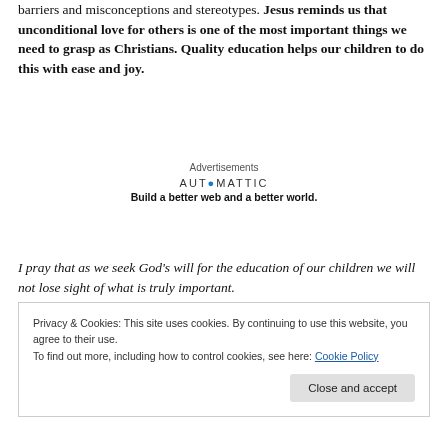barriers and misconceptions and stereotypes. Jesus reminds us that unconditional love for others is one of the most important things we need to grasp as Christians. Quality education helps our children to do this with ease and joy.
[Figure (other): Automattic advertisement block with logo text 'AUTOMATTIC' and tagline 'Build a better web and a better world.']
I pray that as we seek God's will for the education of our children we will not lose sight of what is truly important.
Privacy & Cookies: This site uses cookies. By continuing to use this website, you agree to their use. To find out more, including how to control cookies, see here: Cookie Policy